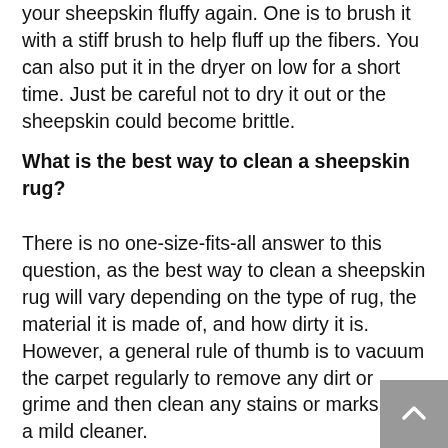your sheepskin fluffy again. One is to brush it with a stiff brush to help fluff up the fibers. You can also put it in the dryer on low for a short time. Just be careful not to dry it out or the sheepskin could become brittle.
What is the best way to clean a sheepskin rug?
There is no one-size-fits-all answer to this question, as the best way to clean a sheepskin rug will vary depending on the type of rug, the material it is made of, and how dirty it is. However, a general rule of thumb is to vacuum the carpet regularly to remove any dirt or grime and then clean any stains or marks with a mild cleaner.